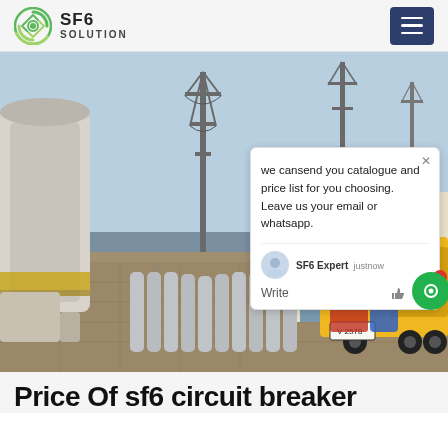SF6 SOLUTION
[Figure (photo): Electrical substation with SF6 gas cylinders, transmission towers, yellow service truck, and SF6 equipment. A chat popup overlay is visible showing: 'we cansend you catalogue and price list for you choosing. Leave us your email or whatsapp.' with SF6 Expert justnow label and Write input area.]
Price Of sf6 circuit breaker